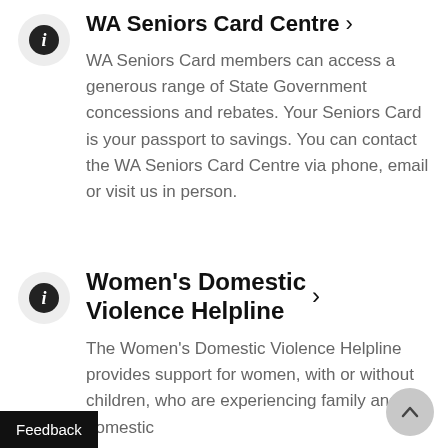WA Seniors Card Centre >
WA Seniors Card members can access a generous range of State Government concessions and rebates. Your Seniors Card is your passport to savings. You can contact the WA Seniors Card Centre via phone, email or visit us in person.
Women's Domestic Violence Helpline >
The Women's Domestic Violence Helpline provides support for women, with or without children, who are experiencing family and domestic